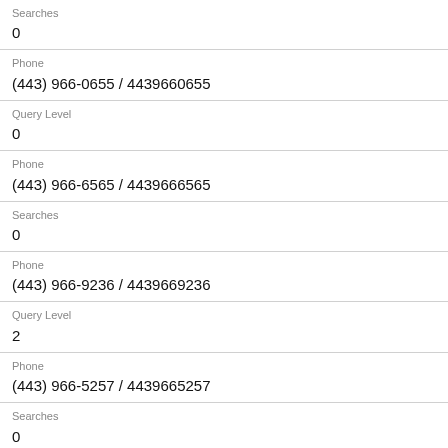Searches
0
Phone
(443) 966-0655 / 4439660655
Query Level
0
Phone
(443) 966-6565 / 4439666565
Searches
0
Phone
(443) 966-9236 / 4439669236
Query Level
2
Phone
(443) 966-5257 / 4439665257
Searches
0
Phone